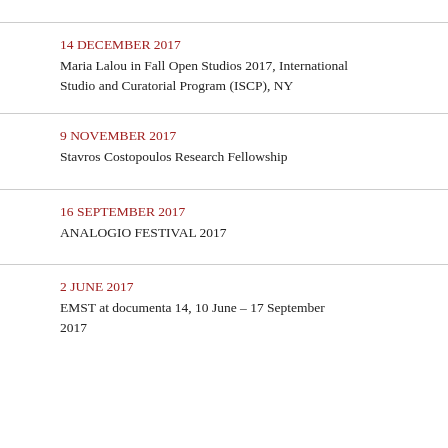14 DECEMBER 2017
Maria Lalou in Fall Open Studios 2017, International Studio and Curatorial Program (ISCP), NY
9 NOVEMBER 2017
Stavros Costopoulos Research Fellowship
16 SEPTEMBER 2017
ANALOGIO FESTIVAL 2017
2 JUNE 2017
EMST at documenta 14, 10 June – 17 September 2017